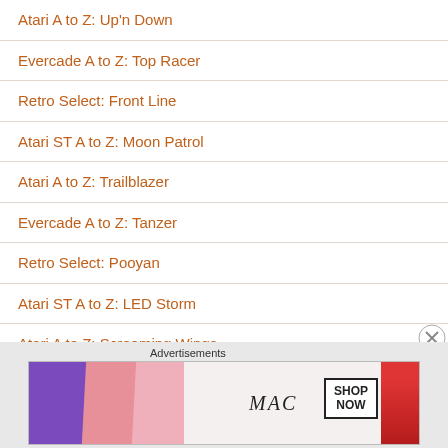Atari A to Z: Up'n Down
Evercade A to Z: Top Racer
Retro Select: Front Line
Atari ST A to Z: Moon Patrol
Atari A to Z: Trailblazer
Evercade A to Z: Tanzer
Retro Select: Pooyan
Atari ST A to Z: LED Storm
Atari A to Z: Screaming Wings
Retro Select: Endless Ocean
[Figure (infographic): Advertisement banner for MAC cosmetics showing lipsticks and a SHOP NOW button]